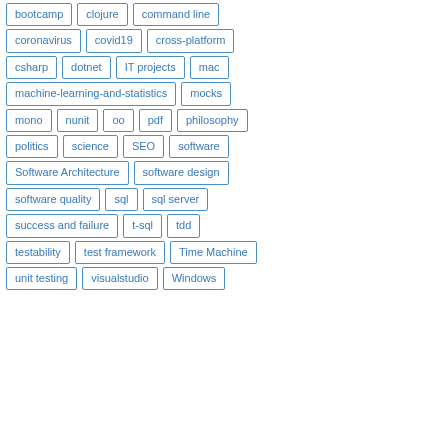bootcamp
clojure
command line
coronavirus
covid19
cross-platform
csharp
dotnet
IT projects
mac
machine-learning-and-statistics
mocks
mono
nunit
oo
pdf
philosophy
politics
science
SEO
software
Software Architecture
software design
software quality
sql
sql server
success and failure
t-sql
tdd
testability
test framework
Time Machine
unit testing
visualstudio
Windows